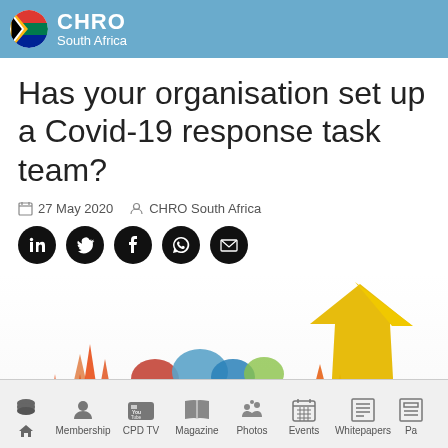CHRO South Africa
Has your organisation set up a Covid-19 response task team?
27 May 2020   CHRO South Africa
[Figure (illustration): Colourful illustration of silhouetted business people surrounded by upward-pointing arrows in orange, red, and yellow, with speech bubbles in blue and multicolour above them, suggesting teamwork and growth.]
Home  Membership  CPD TV  Magazine  Photos  Events  Whitepapers  Pa...